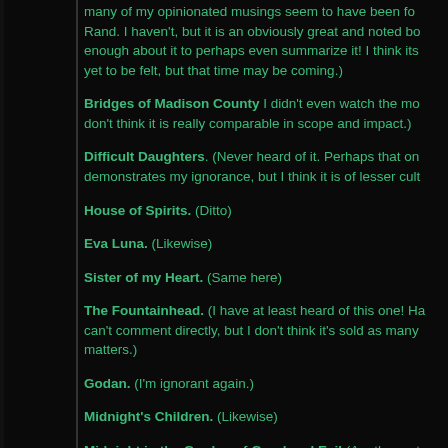many of my opinionated musings seem to have been for Rand. I haven't, but it is an obviously great and noted book enough about it to perhaps even summarize it! I think its yet to be felt, but that time may be coming.)
Bridges of Madison County I didn't even watch the movie. I don't think it is really comparable in scope and impact.)
Difficult Daughters. (Never heard of it. Perhaps that only demonstrates my ignorance, but I think it is of lesser cultural...
House of Spirits. (Ditto)
Eva Luna. (Likewise)
Sister of my Heart. (Same here)
The Fountainhead. (I have at least heard of this one! Ha can't comment directly, but I don't think it's sold as many matters.)
Godan. (I'm ignorant again.)
Midnight's Children. (Likewise)
Midnight in the Garden of Good and Evil (Another notable that was filmed. I've neither read it or watched it. Again, does the impact criterion?)
Pigamalion. (A great play by George Bernard Shaw. I do...